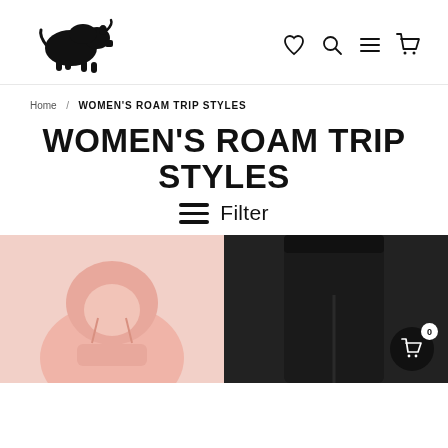[Figure (logo): Sportiqe brand logo: black bison/buffalo silhouette above the text SPORTIQE in bold uppercase letters]
[Figure (infographic): Navigation icons: heart (wishlist), magnifying glass (search), hamburger menu, shopping cart]
Home  WOMEN'S ROAM TRIP STYLES
WOMEN'S ROAM TRIP STYLES
≡ Filter
[Figure (photo): Pink hoodie garment product photo on white/pink background]
[Figure (photo): Black pants/leggings product photo on dark background with shopping cart floating button showing 0 items]